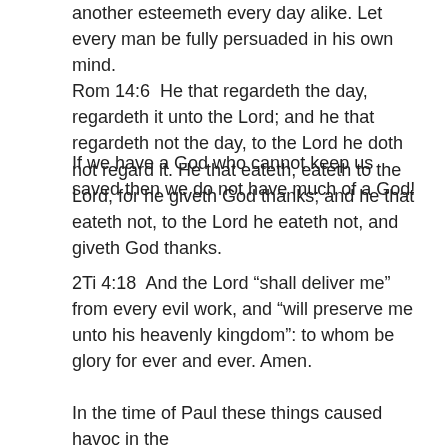another esteemeth every day alike. Let every man be fully persuaded in his own mind.
Rom 14:6  He that regardeth the day, regardeth it unto the Lord; and he that regardeth not the day, to the Lord he doth not regard it. He that eateth, eateth to the Lord, for he giveth God thanks; and he that eateth not, to the Lord he eateth not, and giveth God thanks.
If we have a God who cannot keep us saved then we do not have much of a God!
2Ti 4:18  And the Lord “shall deliver me” from every evil work, and “will preserve me unto his heavenly kingdom”: to whom be glory for ever and ever. Amen.
In the time of Paul these things caused havoc in the